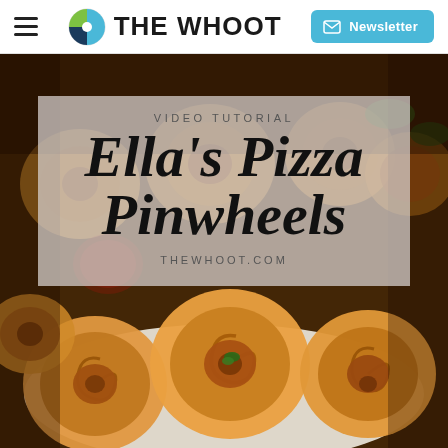THE WHOOT | Newsletter
[Figure (photo): Hero image showing pizza pinwheels – golden baked spiral rolls with tomato sauce filling, garnished with fresh herbs, on a white plate with a dark wooden background. A semi-transparent overlay panel in the center contains the title 'VIDEO TUTORIAL / Ella's Pizza Pinwheels / THEWHOOT.COM']
Ella's Pizza Pinwheels
VIDEO TUTORIAL
THEWHOOT.COM